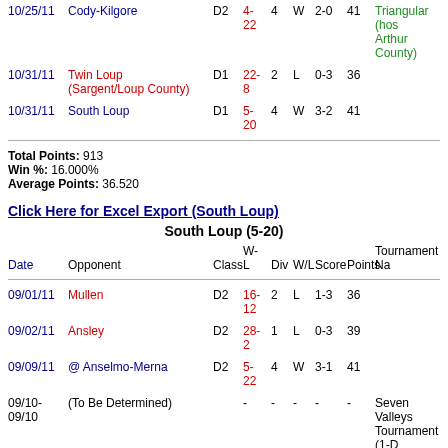| Date | Opponent | Class | W-L | Div | W/L | Score | Points | Tournament Name |
| --- | --- | --- | --- | --- | --- | --- | --- | --- |
| 10/25/11 | Cody-Kilgore | D2 | 4-22 | 4 | W | 2-0 | 41 | Triangular (hos Arthur County) |
| 10/31/11 | Twin Loup (Sargent/Loup County) | D1 | 22-8 | 2 | L | 0-3 | 36 |  |
| 10/31/11 | South Loup | D1 | 5-20 | 4 | W | 3-2 | 41 |  |
Total Points: 913
Win %: 16.000%
Average Points: 36.520
Click Here for Excel Export (South Loup)
South Loup (5-20)
| Date | Opponent | Class | W-L | Div | W/L | Score | Points | Tournament Name |
| --- | --- | --- | --- | --- | --- | --- | --- | --- |
| 09/01/11 | Mullen | D2 | 16-12 | 2 | L | 1-3 | 36 |  |
| 09/02/11 | Ansley | D2 | 28-2 | 1 | L | 0-3 | 39 |  |
| 09/09/11 | @ Anselmo-Merna | D2 | 5-22 | 4 | W | 3-1 | 41 |  |
| 09/10-09/10 | (To Be Determined) |  | - | - | - | - | - | Seven Valleys Tournament (1-D Tournament, >4 Teams) |
| 09/10 | Anselmo-Merna | D2 | 5-22 | 4 | L | 0-2 | 30 | Seven Valleys Tournament |